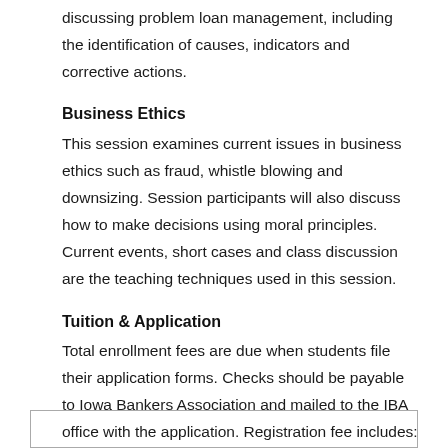discussing problem loan management, including the identification of causes, indicators and corrective actions.
Business Ethics
This session examines current issues in business ethics such as fraud, whistle blowing and downsizing. Session participants will also discuss how to make decisions using moral principles. Current events, short cases and class discussion are the teaching techniques used in this session.
Tuition & Application
Total enrollment fees are due when students file their application forms. Checks should be payable to Iowa Bankers Association and mailed to the IBA office with the application. Registration fee includes: tuition, housing, meals, materials and application fee (all inclusive).